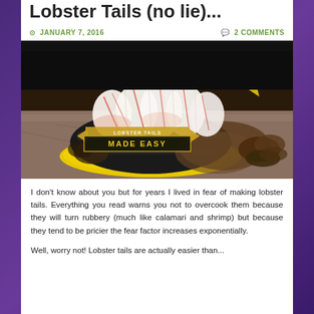Lobster Tails (no lie)...
JANUARY 7, 2016  |  2 COMMENTS
[Figure (photo): A cooked lobster tail split open showing white and red meat on top of the dark shell, placed on a yellow plate on a granite countertop. A banner overlay reads 'LOBSTER TAILS MADE EASY' in gold text.]
I don't know about you but for years I lived in fear of making lobster tails. Everything you read warns you not to overcook them because they will turn rubbery (much like calamari and shrimp) but because they tend to be pricier the fear factor increases exponentially.
Well, worry not! Lobster tails are actually easier than...